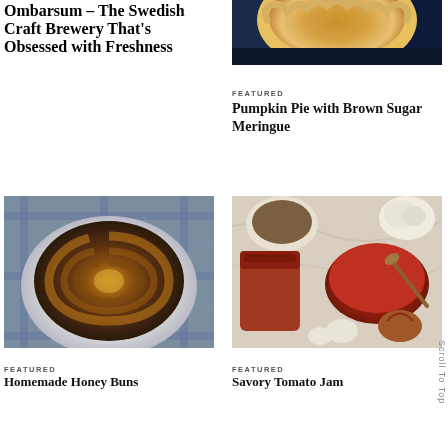Ombarsum – The Swedish Craft Brewery That's Obsessed with Freshness
[Figure (photo): Close-up overhead photo of a pumpkin pie with crimped crust on a dark background with blue cloth]
FEATURED
Pumpkin Pie with Brown Sugar Meringue
[Figure (photo): Overhead photo of a large glazed cinnamon honey bun in a white bowl on a plaid cloth]
[Figure (photo): Overhead photo of savory tomato jam in mason jars with spices, garlic, and shallots on marble surface]
FEATURED
Homemade Honey Buns
FEATURED
Savory Tomato Jam
Scroll To Top